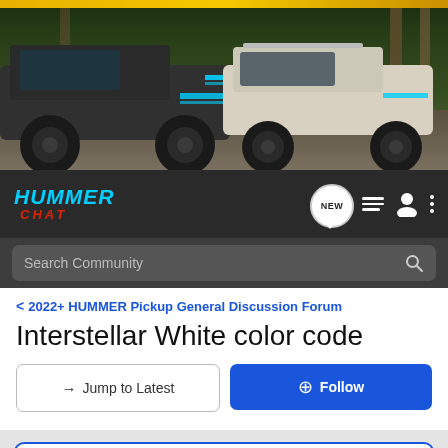[Figure (photo): Hero banner showing two GMC Hummer EV trucks (one dark, one white/beige) driving through a forest setting with rocky terrain. Yellow bar at the very top.]
HUMMER CHAT
Search Community
< 2022+ HUMMER Pickup General Discussion Forum
Interstellar White color code
→ Jump to Latest
+ Follow
Hummer EV Order Tracker: Add Yours Here!